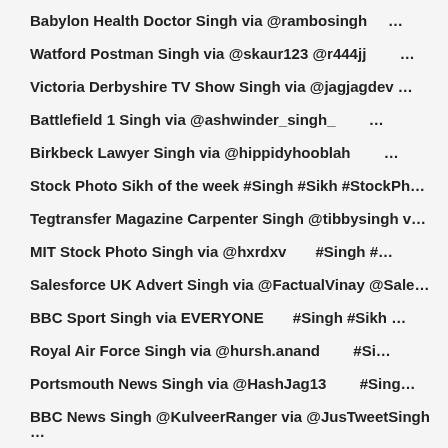Babylon Health Doctor Singh via @rambosingh …
Watford Postman Singh via @skaur123 @r444jj …
Victoria Derbyshire TV Show Singh via @jagjagdev …
Battlefield 1 Singh via @ashwinder_singh_ …
Birkbeck Lawyer Singh via @hippidyhooblah …
Stock Photo Sikh of the week #Singh #Sikh #StockPh…
Tegtransfer Magazine Carpenter Singh @tibbysingh v…
MIT Stock Photo Singh via @hxrdxv #Singh #…
Salesforce UK Advert Singh via @FactualVinay @Sale…
BBC Sport Singh via EVERYONE #Singh #Sikh …
Royal Air Force Singh via @hursh.anand #Si…
Portsmouth News Singh via @HashJag13 #Sing…
BBC News Singh @KulveerRanger via @JusTweetSingh …
Financial Times Canadian Singh via @ravibasra 🇨🇦…
BBC World News Canadian Singh via @ShirazHassan 🇨…
Stock Photo Sikh of the week #Singh #Sikh #StockPh…